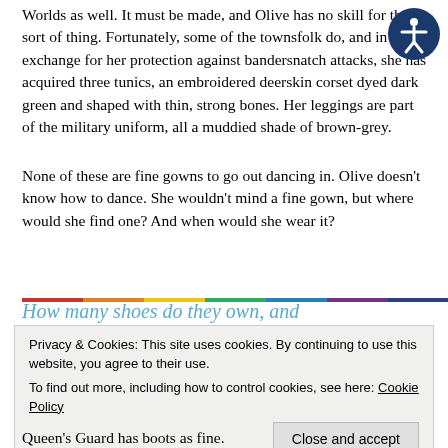Worlds as well.  It must be made, and Olive has no skill for that sort of thing.  Fortunately, some of the townsfolk do, and in exchange for her protection against bandersnatch attacks, she has acquired three tunics, an embroidered deerskin corset dyed dark green and shaped with thin, strong bones.  Her leggings are part of the military uniform, all a muddied shade of brown-grey.
None of these are fine gowns to go out dancing in.  Olive doesn't know how to dance.  She wouldn't mind a fine gown, but where would she find one?  And when would she wear it?
How many shoes do they own, and
Privacy & Cookies: This site uses cookies. By continuing to use this website, you agree to their use.
To find out more, including how to control cookies, see here: Cookie Policy
Queen's Guard has boots as fine.